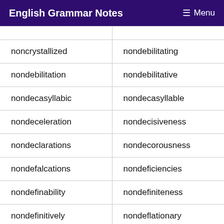English Grammar Notes   ≡ Menu
| noncrystallized | nondebilitating |
| nondebilitation | nondebilitative |
| nondecasyllabic | nondecasyllable |
| nondeceleration | nondecisiveness |
| nondeclarations | nondecorousness |
| nondefalcations | nondeficiencies |
| nondefinability | nondefiniteness |
| nondefinitively | nondeflationary |
| nondeformations | nondegeneracies |